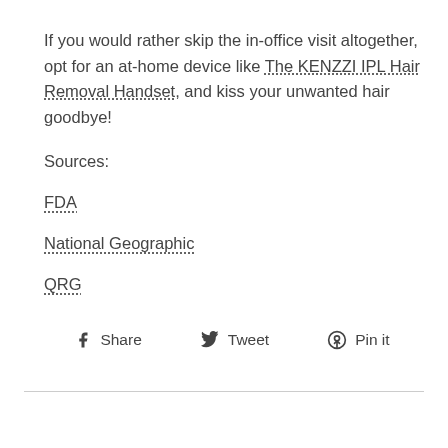If you would rather skip the in-office visit altogether, opt for an at-home device like The KENZZI IPL Hair Removal Handset, and kiss your unwanted hair goodbye!
Sources:
FDA
National Geographic
QRG
Share  Tweet  Pin it